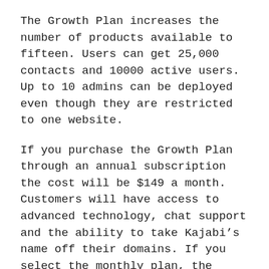The Growth Plan increases the number of products available to fifteen. Users can get 25,000 contacts and 10000 active users. Up to 10 admins can be deployed even though they are restricted to one website.
If you purchase the Growth Plan through an annual subscription the cost will be $149 a month. Customers will have access to advanced technology, chat support and the ability to take Kajabi’s name off their domains. If you select the monthly plan, the price is $199.
Kajabi Pro
The latest version of the plan is the Pro Plan,